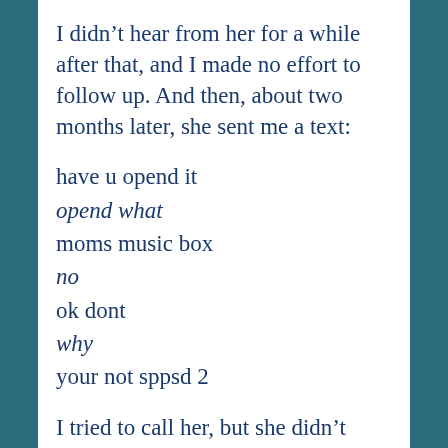I didn't hear from her for a while after that, and I made no effort to follow up. And then, about two months later, she sent me a text:
have u opend it
opend what
moms music box
no
ok dont
why
your not sppsd 2
I tried to call her, but she didn't